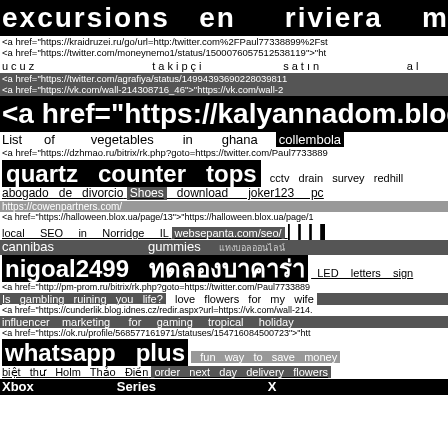excursiones en riviera maya
<a href="https://kraidruzei.ru/go/url=http:/twitter.com%2FPaul77338899%2Fst
<a href="https://twitter.com/moneynemo1/status/1500076057512538119">"ht
ucuz  takipçi  satın  al
<a href="https://twitter.com/agrafiya/status/14994393690228039811
<a href="https://vk.com/wall-214308716_46">"https://vk.com/wall-2
<a href="https://kalyannadom.blogspot
List of vegetables in ghana   collembola
<a href="https://dzhmao.ru/bitrix/rk.php?goto=https://twitter.com/Paul7733889
quartz counter tops   cctv drain survey redhill
abogado de divorcio  Shoes  download joker123 pc
https://cowenpartners.com/
<a href="https://halloween.blox.ua/page/13">"https://halloween.blox.ua/page/1
local SEO in Norridge IL   websepanta.com/seo/
cannibas  gummies
nigoal2499  [Thai text]   LED letters sign
<a href="http://pm-prom.ru/bitrix/rk.php?goto=https://twitter.com/Paul7733889
Is gambling ruining you life?  love flowers for my wife
<a href="https://cunderlik.blog.idnes.cz/redir.aspx?url=https://vk.com/wall-214.
influencer marketing for gaming  tropical holiday
<a href="https://ok.ru/profile/568577161971/statuses/154716084500723">"htt
whatsapp plus   fun way to save money
biệt thự Holm Thảo Điền  order next day delivery flowers
Xbox   Series   X